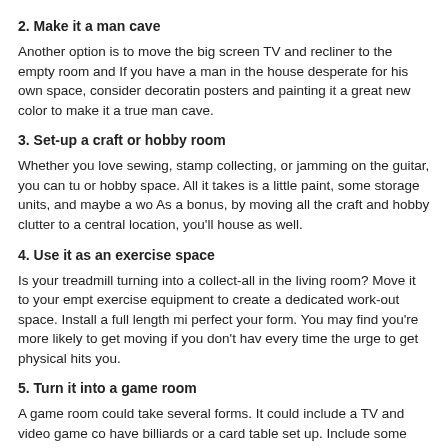2. Make it a man cave
Another option is to move the big screen TV and recliner to the empty room and If you have a man in the house desperate for his own space, consider decoratin posters and painting it a great new color to make it a true man cave.
3. Set-up a craft or hobby room
Whether you love sewing, stamp collecting, or jamming on the guitar, you can tu or hobby space. All it takes is a little paint, some storage units, and maybe a wo As a bonus, by moving all the craft and hobby clutter to a central location, you'll house as well.
4. Use it as an exercise space
Is your treadmill turning into a collect-all in the living room? Move it to your empt exercise equipment to create a dedicated work-out space. Install a full length mi perfect your form. You may find you're more likely to get moving if you don't hav every time the urge to get physical hits you.
5. Turn it into a game room
A game room could take several forms. It could include a TV and video game co have billiards or a card table set up. Include some storage, move all the board g forget to add a space for your in-progress puzzle.
6. Have your own home library